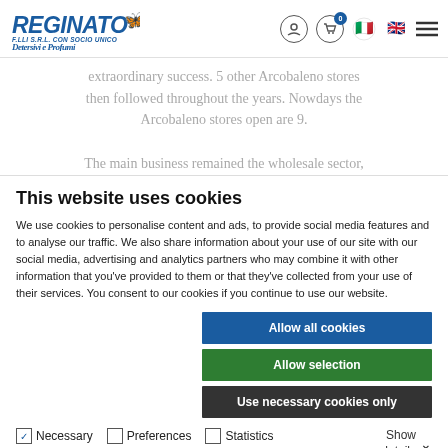[Figure (logo): Reginato F.LLI S.R.L. con socio unico logo with butterfly icon and tagline 'Detersivi e Profumi']
extraordinary success. 5 other Arcobaleno stores then followed throughout the years. Nowdays the Arcobaleno stores open are 9.

The main business remained the wholesale sector, which sees nowdays an increase in sales force
This website uses cookies
We use cookies to personalise content and ads, to provide social media features and to analyse our traffic. We also share information about your use of our site with our social media, advertising and analytics partners who may combine it with other information that you've provided to them or that they've collected from your use of their services. You consent to our cookies if you continue to use our website.
Allow all cookies
Allow selection
Use necessary cookies only
Necessary  Preferences  Statistics  Marketing  Show details